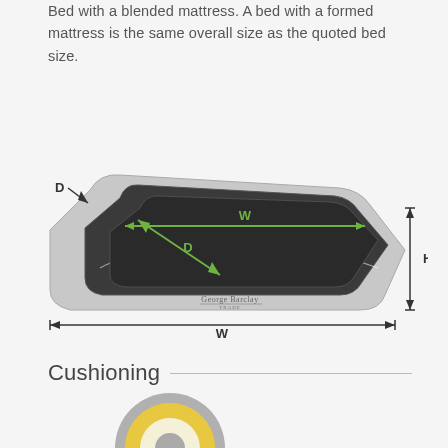Bed with a blended mattress. A bed with a formed mattress is the same overall size as the quoted bed size.
[Figure (engineering-diagram): Engineering diagram of a pet bed showing dimensions W (width), D (depth), and H (height). W and D are indicated inside the bed cushion area with green arrows; W is also shown below the bed with a black arrow. H is shown to the right side with a black arrow. The bed is shown in 3/4 perspective view with a grey surround and dark cushion. George Barclay logo visible on the front.]
Cushioning
[Figure (illustration): Partial illustration of a circular pet bed cushion cross-section showing layered materials in yellow/white/grey colors, cropped at bottom of page.]